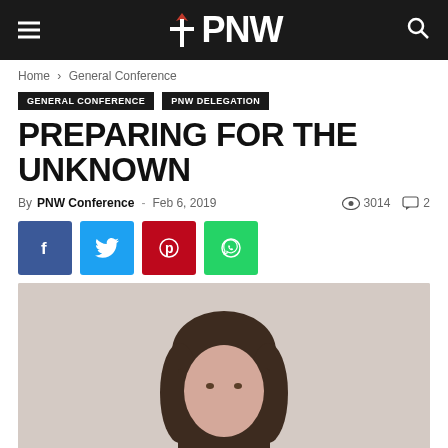PNW
Home › General Conference
GENERAL CONFERENCE   PNW DELEGATION
PREPARING FOR THE UNKNOWN
By PNW Conference - Feb 6, 2019   3014   2
[Figure (other): Social share buttons: Facebook, Twitter, Pinterest, WhatsApp]
[Figure (photo): Portrait photo of a woman with dark hair against a light background]